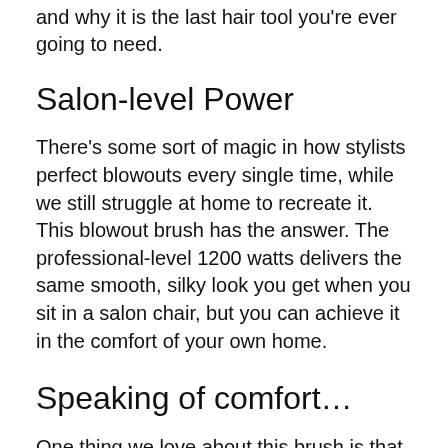and why it is the last hair tool you're ever going to need.
Salon-level Power
There’s some sort of magic in how stylists perfect blowouts every single time, while we still struggle at home to recreate it. This blowout brush has the answer. The professional-level 1200 watts delivers the same smooth, silky look you get when you sit in a salon chair, but you can achieve it in the comfort of your own home.
Speaking of comfort…
One thing we love about this brush is that the cord swivels with you. If you’re not getting tangled up in